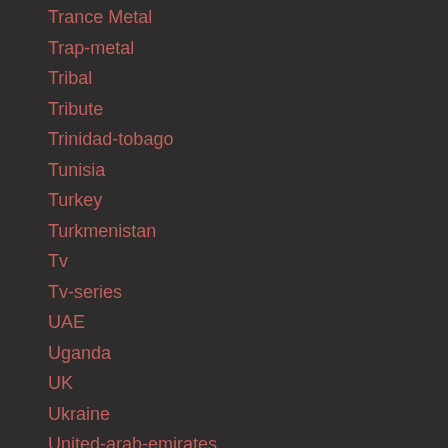Trance Metal
Trap-metal
Tribal
Tribute
Trinidad-tobago
Tunisia
Turkey
Turkmenistan
Tv
Tv-series
UAE
Uganda
UK
Ukraine
United-arab-emirates
United-states
Uruguay
USA
Uzbekistan
Vanuatu
Vedic-metal